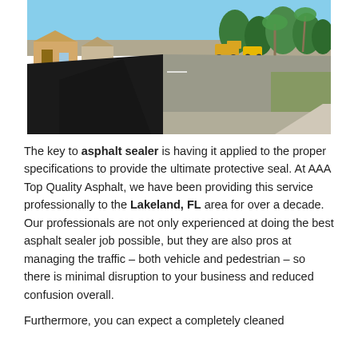[Figure (photo): Street view of fresh black asphalt being laid on a residential road, with yellow paving equipment visible in the background, houses and palm trees on the sides.]
The key to asphalt sealer is having it applied to the proper specifications to provide the ultimate protective seal. At AAA Top Quality Asphalt, we have been providing this service professionally to the Lakeland, FL area for over a decade. Our professionals are not only experienced at doing the best asphalt sealer job possible, but they are also pros at managing the traffic – both vehicle and pedestrian – so there is minimal disruption to your business and reduced confusion overall.
Furthermore, you can expect a completely cleaned